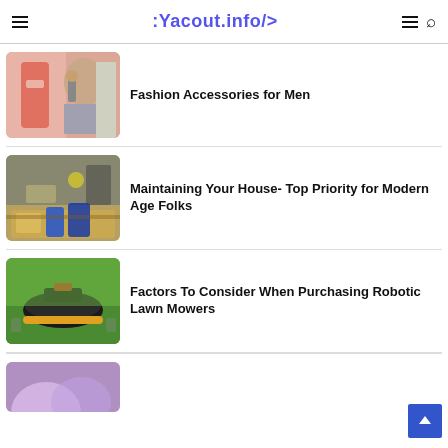:Yacout.info/>
Fashion Accessories for Men
Maintaining Your House- Top Priority for Modern Age Folks
Factors To Consider When Purchasing Robotic Lawn Mowers